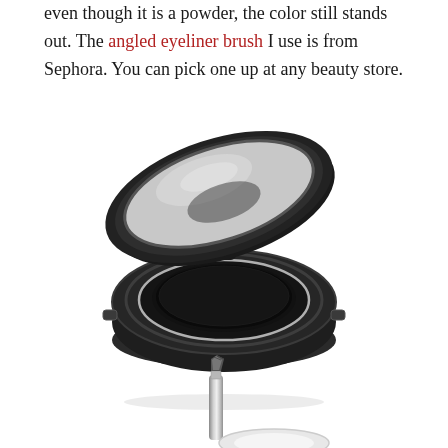even though it is a powder, the color still stands out. The angled eyeliner brush I use is from Sephora. You can pick one up at any beauty store.
[Figure (photo): A black compact powder case with mirror lid open, showing dark black eyeshadow/eyeliner powder inside a circular pan, photographed on white background.]
[Figure (photo): An angled eyeliner brush with silver metallic handle, partially visible at bottom of page.]